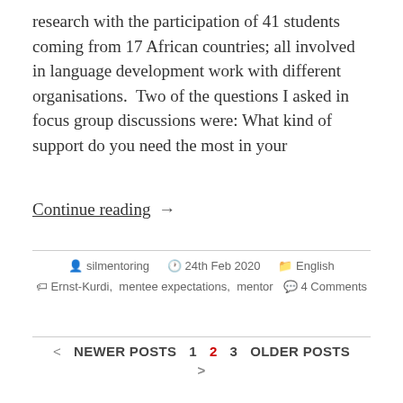research with the participation of 41 students coming from 17 African countries; all involved in language development work with different organisations.  Two of the questions I asked in focus group discussions were: What kind of support do you need the most in your
Continue reading  →
silmentoring   24th Feb 2020   English   Ernst-Kurdi,  mentee expectations,  mentor   4 Comments
< NEWER POSTS   1   2   3   OLDER POSTS   >